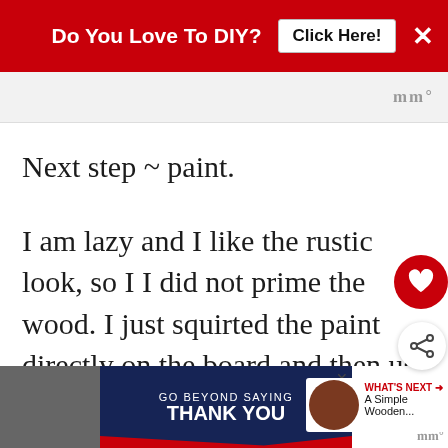[Figure (screenshot): Red advertising banner at top reading 'Do You Love To DIY?' with 'Click Here!' button and X close button]
[Figure (screenshot): Grey toolbar bar with menu/settings icons on the right]
Next step ~ paint.
I am lazy and I like the rustic look, so I did not prime the wood. I just squirted the paint directly on the board and then used a foam brush to spread it.
[Figure (screenshot): Bottom advertisement banner: GO BEYOND SAYING THANK YOU - Operation Gratitude JOIN US]
[Figure (screenshot): Bottom right toolbar icon]